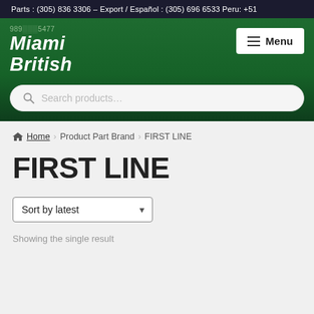Parts : (305) 836 3306 – Export / Español : (305) 696 6533 Peru: +51
[Figure (logo): Miami British logo with phone number 989 475 477]
≡ Menu
Search products...
Home › Product Part Brand › FIRST LINE
FIRST LINE
Sort by latest
Showing the single result